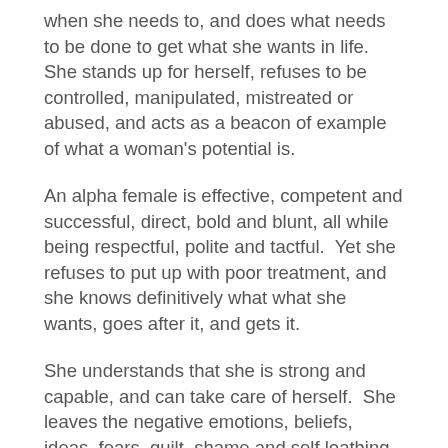when she needs to, and does what needs to be done to get what she wants in life.  She stands up for herself, refuses to be controlled, manipulated, mistreated or abused, and acts as a beacon of example of what a woman's potential is.
An alpha female is effective, competent and successful, direct, bold and blunt, all while being respectful, polite and tactful.  Yet she refuses to put up with poor treatment, and she knows definitively what what she wants, goes after it, and gets it.
She understands that she is strong and capable, and can take care of herself.  She leaves the negative emotions, beliefs, ideas, fears, guilt, shame and self loathing behind and embraces the positives about herself and her life, while making it better and better.  She knows she can do, be and accomplish whatever it is she wants to, and she is fearless in doing what it takes to achieve her goals.
Procrastinate?  Not the alpha female.  She's got too